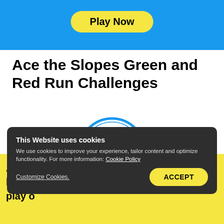[Figure (other): Blue banner with yellow Play Now button at the top]
Ace the Slopes Green and Red Run Challenges
[Figure (logo): Blue circle mountain/ski slope icon]
Play any poker tournaments (incl. BLAST)
As a p... isit our local ... d play o...
[Figure (other): Cookie consent overlay: This Website uses cookies. We use cookies to improve your experience, tailor content and optimize functionality. For more information: Cookie Policy. Customize Cookies. ACCEPT button.]